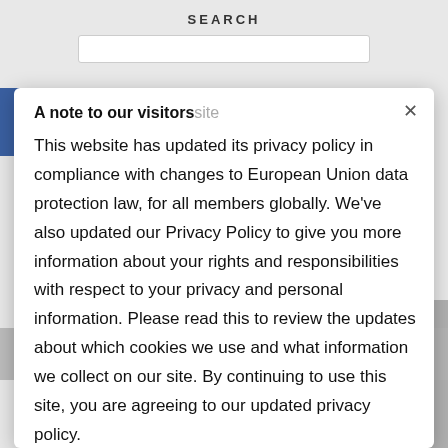SEARCH
A note to our visitors
This website has updated its privacy policy in compliance with changes to European Union data protection law, for all members globally. We've also updated our Privacy Policy to give you more information about your rights and responsibilities with respect to your privacy and personal information. Please read this to review the updates about which cookies we use and what information we collect on our site. By continuing to use this site, you are agreeing to our updated privacy policy.
We are using cookies to give you the best experience on our website. You can find out more about which cookies we are using or switch them off in settings.